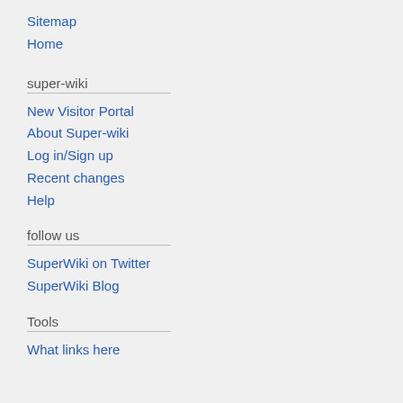Sitemap
Home
super-wiki
New Visitor Portal
About Super-wiki
Log in/Sign up
Recent changes
Help
follow us
SuperWiki on Twitter
SuperWiki Blog
Tools
What links here